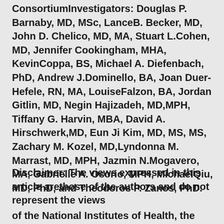ConsortiumInvestigators: Douglas P. Barnaby, MD, MSc, LanceB. Becker, MD, John D. Chelico, MD, MA, Stuart L.Cohen, MD, Jennifer Cookingham, MHA, KevinCoppa, BS, Michael A. Diefenbach, PhD, Andrew J.Dominello, BA, Joan Duer-Hefele, RN, MA, LouiseFalzon, BA, Jordan Gitlin, MD, Negin Hajizadeh, MD,MPH, Tiffany G. Harvin, MBA, David A. Hirschwerk,MD, Eun Ji Kim, MD, MS, MS, Zachary M. Kozel, MD,Lyndonna M. Marrast, MD, MPH, Jazmin N.Mogavero, MA, Gabrielle A. Osorio, MPH, MichaelQiu, MD, PhD, and Theodoros P. Zanos, PhD.
Disclaimer: The views expressed in this article arethose of the authors and do not represent the views
of the National Institutes of Health, the USDepartment of